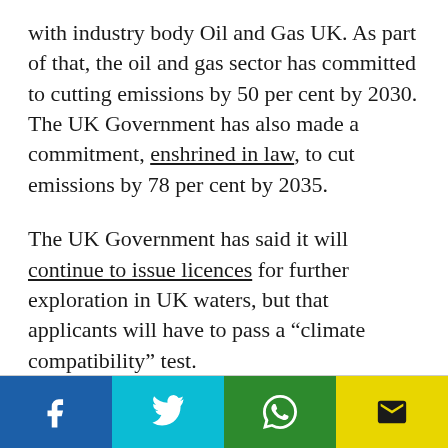with industry body Oil and Gas UK. As part of that, the oil and gas sector has committed to cutting emissions by 50 per cent by 2030. The UK Government has also made a commitment, enshrined in law, to cut emissions by 78 per cent by 2035.
The UK Government has said it will continue to issue licences for further exploration in UK waters, but that applicants will have to pass a “climate compatibility” test.
[Figure (other): Social sharing buttons: Facebook, Twitter, WhatsApp, Email]